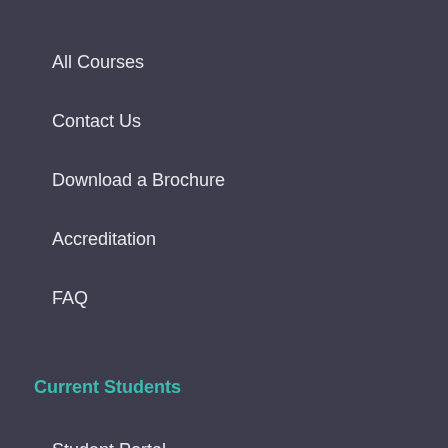All Courses
Contact Us
Download a Brochure
Accreditation
FAQ
Current Students
Student Portal
Further Works Request